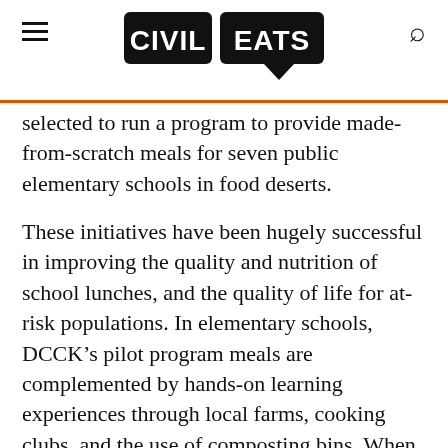Civil Eats
selected to run a program to provide made-from-scratch meals for seven public elementary schools in food deserts.
These initiatives have been hugely successful in improving the quality and nutrition of school lunches, and the quality of life for at-risk populations. In elementary schools, DCCK's pilot program meals are complemented by hands-on learning experiences through local farms, cooking clubs, and the use of composting bins. When an 11-year old student told his parents that they “must go shopping every weekend to buy vegetables like they have at school,” Michael Curtin, Executive Director of DCCK, saw this as a